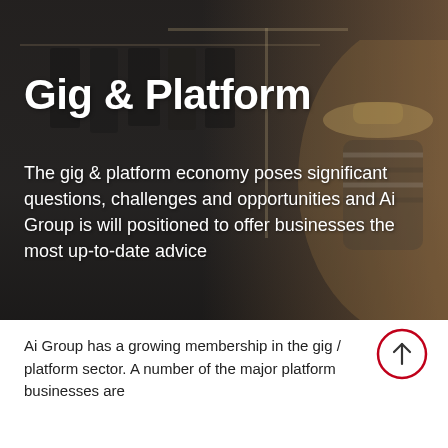[Figure (photo): Hero image with dark overlay showing a woman in a striped shirt and straw hat browsing clothing on a rack in what appears to be a boutique or store. The background is dimmed with a dark gradient overlay.]
Gig & Platform
The gig & platform economy poses significant questions, challenges and opportunities and Ai Group is will positioned to offer businesses the most up-to-date advice
Ai Group has a growing membership in the gig / platform sector. A number of the major platform businesses are members of Ai Group as well as contractors on the larger...